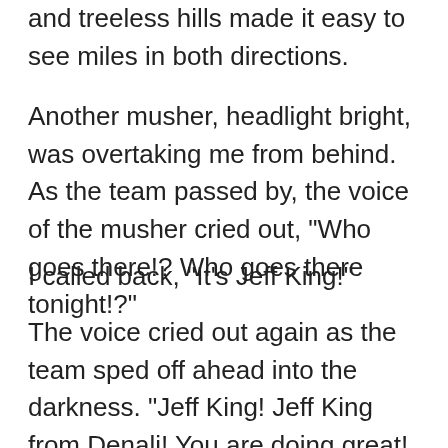and treeless hills made it easy to see miles in both directions.
Another musher, headlight bright, was overtaking me from behind. As the team passed by, the voice of the musher cried out, "Who goes there!? Who goes there tonight!?"
I called back, "It's Jeff King!"
The voice cried out again as the team sped off ahead into the darkness. "Jeff King! Jeff King from Denali! You are doing great! Keep up the good work!"
I recognized the team as Joe Redington, Sr., the man who had single-handedly dreamed